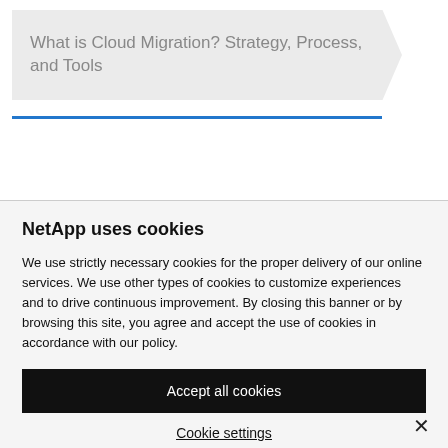[Figure (other): Browser breadcrumb banner with chevron shape showing page title 'What is Cloud Migration? Strategy, Process, and Tools' with a blue underline below]
NetApp uses cookies
We use strictly necessary cookies for the proper delivery of our online services. We use other types of cookies to customize experiences and to drive continuous improvement. By closing this banner or by browsing this site, you agree and accept the use of cookies in accordance with our policy.
Accept all cookies
Cookie settings